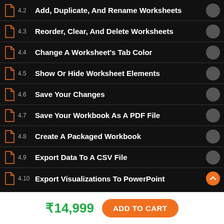4.2 Add, Duplicate, And Rename Worksheets
4.3 Reorder, Clear, And Delete Worksheets
4.4 Change A Worksheet's Tab Color
4.5 Show Or Hide Worksheet Elements
4.6 Save Your Changes
4.7 Save Your Workbook As A PDF File
4.8 Create A Packaged Workbook
4.9 Export Data To A CSV File
4.10 Export Visualizations To PowerPoint
₹14,999
ADD TO CART